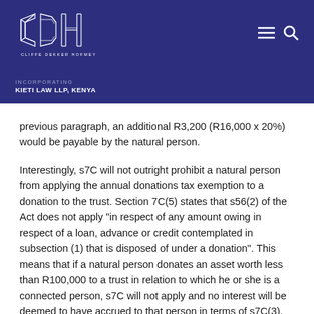[Figure (logo): CDH Cliffe Dekker Hofmeyr logo with geometric crystal design in white on dark blue background, with navigation menu and search icons]
INCORPORATING
KIETI LAW LLP, KENYA
previous paragraph, an additional R3,200 (R16,000 x 20%) would be payable by the natural person.
Interestingly, s7C will not outright prohibit a natural person from applying the annual donations tax exemption to a donation to the trust. Section 7C(5) states that s56(2) of the Act does not apply "in respect of any amount owing in respect of a loan, advance or credit contemplated in subsection (1) that is disposed of under a donation". This means that if a natural person donates an asset worth less than R100,000 to a trust in relation to which he or she is a connected person, s7C will not apply and no interest will be deemed to have accrued to that person in terms of s7C(3).